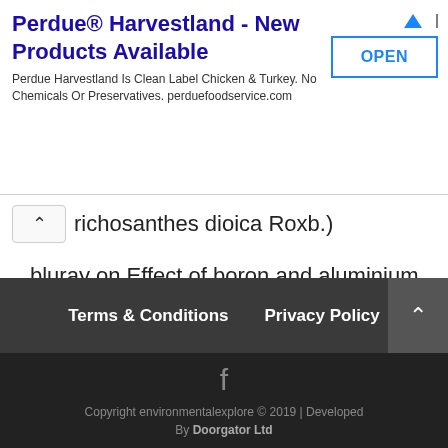[Figure (other): Advertisement banner for Perdue Harvestland with OPEN button]
richosanthes dioica Roxb.)
bluray on Effect of boron and aluminium on seed germination and seedling growth of wheat
Adsense
Terms & Conditions   Privacy Policy
Copyright environmentalexplore © 2019 | Developed By Doorgator Ltd